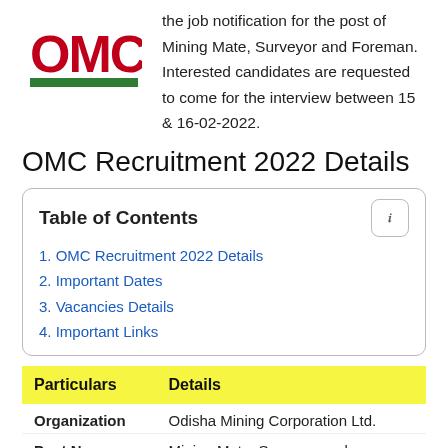[Figure (logo): OMC logo with red bold letters and green underline bar]
the job notification for the post of Mining Mate, Surveyor and Foreman. Interested candidates are requested to come for the interview between 15 & 16-02-2022.
OMC Recruitment 2022 Details
Table of Contents
1. OMC Recruitment 2022 Details
2. Important Dates
3. Vacancies Details
4. Important Links
| Particulars | Details |
| --- | --- |
| Organization | Odisha Mining Corporation Ltd. |
| Post Name | Mining Mate, Surveyor and |